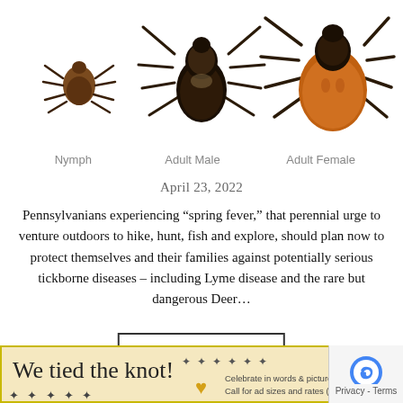[Figure (photo): Three deer ticks shown side by side: a small brown Nymph on the left, a larger dark Adult Male in the center, and a large orange-brown Adult Female on the right, against a white background.]
Nymph    Adult Male    Adult Female
April 23, 2022
Pennsylvanians experiencing “spring fever,” that perennial urge to venture outdoors to hike, hunt, fish and explore, should plan now to protect themselves and their families against potentially serious tickborne diseases – including Lyme disease and the rare but dangerous Deer…
READ MORE
[Figure (infographic): Advertisement banner: 'We tied the knot!' with floral decorations and a gold glitter heart. Text reads: Celebrate in words & pictures. In print & ... Call for ad sizes and rates (215) 702-3...]
Privacy - Terms